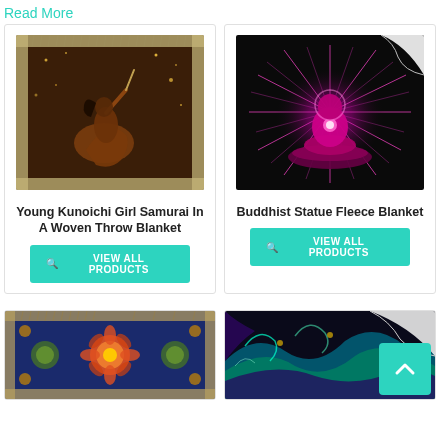Read More
[Figure (photo): Young Kunoichi Girl Samurai dancing/fighting pose on dark brown background with sparkles, woven throw blanket texture border]
Young Kunoichi Girl Samurai In A Woven Throw Blanket
VIEW ALL PRODUCTS
[Figure (photo): Buddhist statue silhouette in meditation pose with bright magenta/pink radiating light on black background, fleece blanket with curled corner]
Buddhist Statue Fleece Blanket
VIEW ALL PRODUCTS
[Figure (photo): Colorful ornate patterned woven blanket with red, orange, green, blue floral/geometric motifs on dark blue background]
[Figure (photo): Colorful swirling wave pattern blanket with teal, purple, green colors, partially shown with white curled corner, scroll-to-top button overlay]